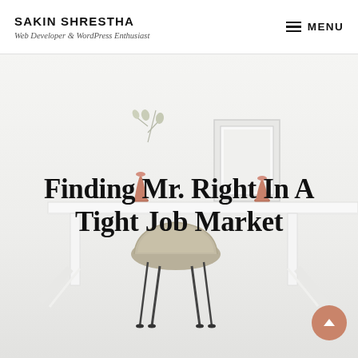SAKIN SHRESTHA — Web Developer & WordPress Enthusiast
Finding Mr. Right In A Tight Job Market
[Figure (photo): Minimalist desk scene with a white desk, a beige/gray chair, a framed picture, a small plant, and copper-colored decorative objects on a light gray background.]